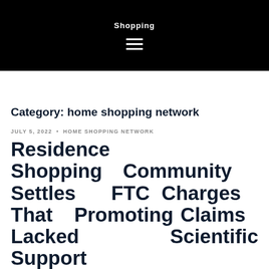Shopping
Category: home shopping network
JULY 5, 2022 · HOME SHOPPING NETWORK
Residence Shopping Community Settles FTC Charges That Promoting Claims Lacked Scientific Support